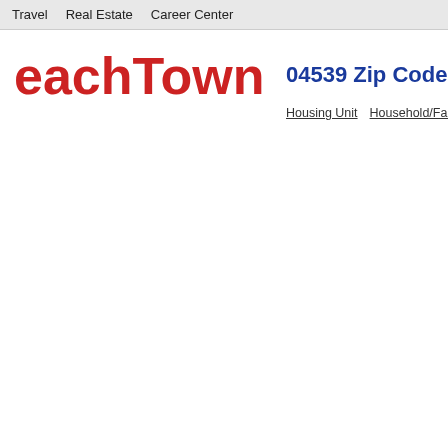Travel   Real Estate   Career Center
eachTown
04539 Zip Code Deta
Housing Unit   Household/Family